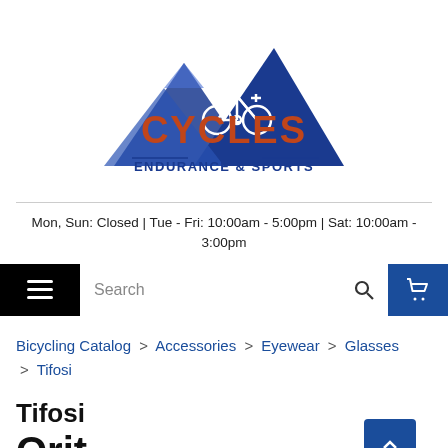[Figure (logo): Cycles Endurance & Sports logo with blue mountain triangles and bicycle silhouette, orange CYCLES text, blue ENDURANCE & SPORTS subtitle]
Mon, Sun: Closed | Tue - Fri: 10:00am - 5:00pm | Sat: 10:00am - 3:00pm
Search
Bicycling Catalog > Accessories > Eyewear > Glasses > Tifosi
Tifosi
Orit